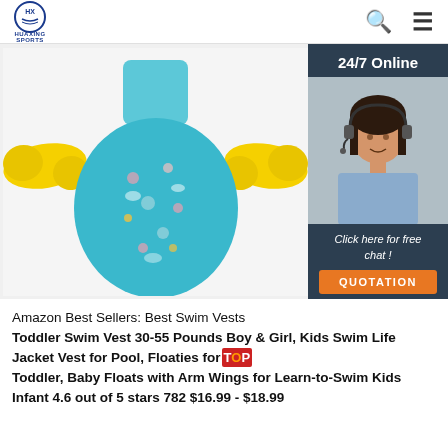HUAXING SPORTS
[Figure (photo): Toddler swim vest with yellow foam arm floaties and teal/blue patterned body on white background]
[Figure (photo): 24/7 Online chat widget showing a smiling woman with headset. Text: 'Click here for free chat!' with orange QUOTATION button]
Amazon Best Sellers: Best Swim Vests Toddler Swim Vest 30-55 Pounds Boy & Girl, Kids Swim Life Jacket Vest for Pool, Floaties for Toddler, Baby Floats with Arm Wings for Learn-to-Swim Kids Infant 4.6 out of 5 stars 782 $16.99 - $18.99